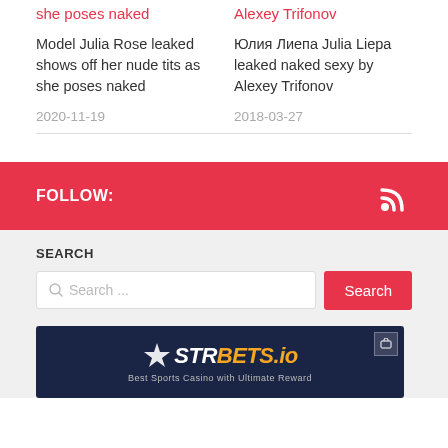she poses naked
Alexey Trifonov
Model Julia Rose leaked shows off her nude tits as she poses naked
Юлия Лиепа Julia Liepa leaked naked sexy by Alexey Trifonov
2020-11-19
2018-03-27
FOLLOW:
SEARCH
[Figure (screenshot): Search input field with placeholder 'Search ...' and a red Search button]
[Figure (logo): STARBETS.io advertisement banner on dark navy background]